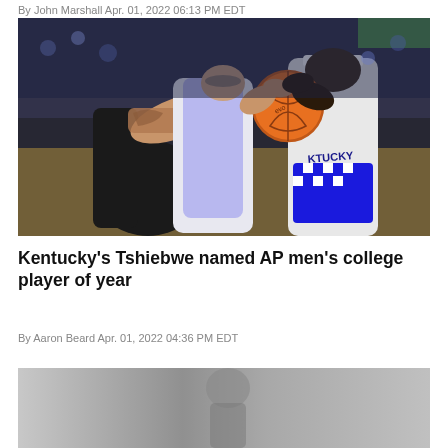By John Marshall Apr. 01, 2022 06:13 PM EDT
[Figure (photo): Basketball players fighting for the ball during an NCAA tournament game. A player in a black uniform (left) and a Kentucky Wildcats player in white/blue (right) both reaching for an orange basketball.]
Kentucky's Tshiebwe named AP men's college player of year
By Aaron Beard Apr. 01, 2022 04:36 PM EDT
[Figure (photo): Partial photo visible at bottom of page.]